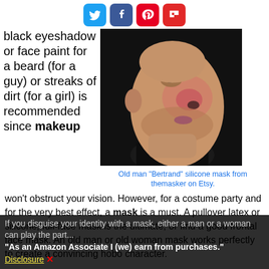[Figure (other): Social media sharing icons: Twitter (blue), Facebook (dark blue), Pinterest (red), Flipboard (red)]
black eyeshadow or face paint for a beard (for a guy) or streaks of dirt (for a girl) is recommended since makeup
[Figure (photo): Side profile photo of a person wearing an old man silicone mask called 'Bertrand' showing realistic aged face features, reddish nose and cheeks, stubble beard, against black background.]
Old man "Bertrand" silicone mask from themasker on Etsy.
won't obstruct your vision. However, for a costume party and for the very best effect, a mask is a must. A pullover latex or silicone, full-face mask is the ultimate, or find a good frontal face mask. An old man or old woman mask works perfectly to create a convincing hobo character.
If you disguise your identity with a mask, either a man or a woman can play the part... "As an Amazon Associate I (we) earn from purchases." Disclosure ✕